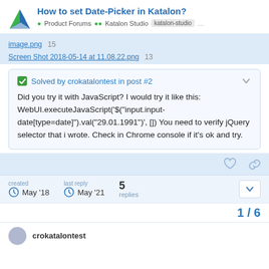How to set Date-Picker in Katalon? — Product Forums • Katalon Studio • katalon-studio
image.png 15
Screen Shot 2018-05-14 at 11.08.22.png 13
✅ Solved by crokatalontest in post #2
Did you try it with JavaScript? I would try it like this: WebUI.executeJavaScript('$("input.input-date[type=date]").val("29.01.1991")', []) You need to verify jQuery selector that i wrote. Check in Chrome console if it's ok and try.
created May '18   last reply May '21   5 replies
1 / 6
crokatalontest